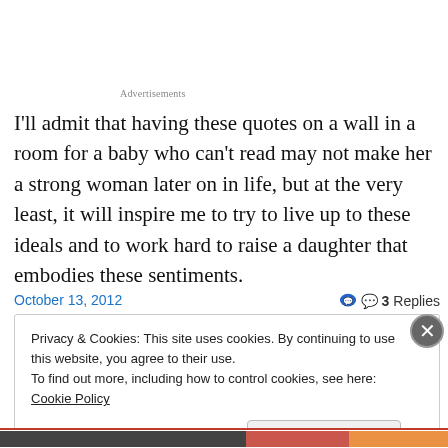Advertisements
I'll admit that having these quotes on a wall in a room for a baby who can't read may not make her a strong woman later on in life, but at the very least, it will inspire me to try to live up to these ideals and to work hard to raise a daughter that embodies these sentiments.
October 13, 2012
3 Replies
Privacy & Cookies: This site uses cookies. By continuing to use this website, you agree to their use.
To find out more, including how to control cookies, see here: Cookie Policy